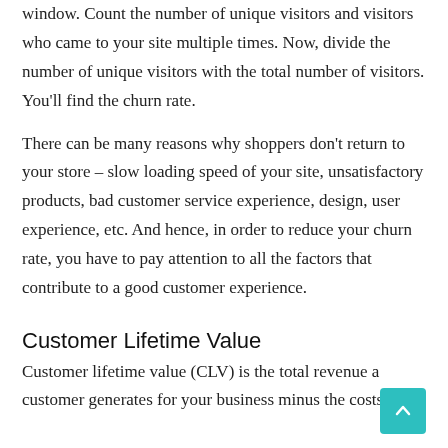window. Count the number of unique visitors and visitors who came to your site multiple times. Now, divide the number of unique visitors with the total number of visitors. You'll find the churn rate.
There can be many reasons why shoppers don't return to your store – slow loading speed of your site, unsatisfactory products, bad customer service experience, design, user experience, etc. And hence, in order to reduce your churn rate, you have to pay attention to all the factors that contribute to a good customer experience.
Customer Lifetime Value
Customer lifetime value (CLV) is the total revenue a customer generates for your business minus the costs of